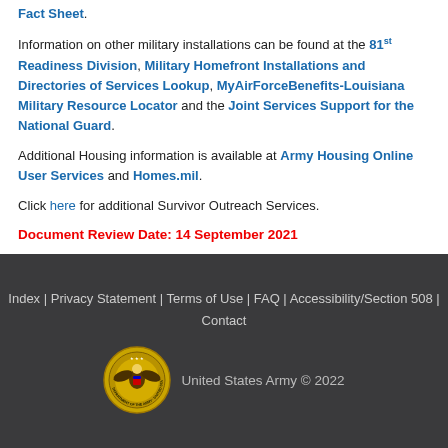Fact Sheet.
Information on other military installations can be found at the 81st Readiness Division, Military Homefront Installations and Directories of Services Lookup, MyAirForceBenefits-Louisiana Military Resource Locator and the Joint Services Support for the National Guard.
Additional Housing information is available at Army Housing Online User Services and Homes.mil.
Click here for additional Survivor Outreach Services.
Document Review Date: 14 September 2021
Index | Privacy Statement | Terms of Use | FAQ | Accessibility/Section 508 | Contact
United States Army © 2022